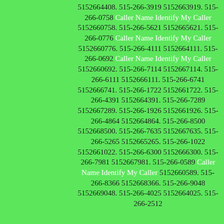5152664408. 515-266-3919 5152663919. 515-266-0758 Caller Name Identify My Caller 5152660758. 515-266-5621 5152665621. 515-266-0776 Caller Name Identify My Caller 5152660776. 515-266-4111 5152664111. 515-266-0692 Caller Name Identify My Caller 5152660692. 515-266-7114 5152667114. 515-266-6111 5152666111. 515-266-6741 5152666741. 515-266-1722 5152661722. 515-266-4391 5152664391. 515-266-7289 5152667289. 515-266-1926 5152661926. 515-266-4864 5152664864. 515-266-8500 5152668500. 515-266-7635 5152667635. 515-266-5265 5152665265. 515-266-1022 5152661022. 515-266-6300 5152666300. 515-266-7981 5152667981. 515-266-0589 Caller Name Identify My Caller 5152660589. 515-266-8366 5152668366. 515-266-9048 5152669048. 515-266-4025 5152664025. 515-266-2512